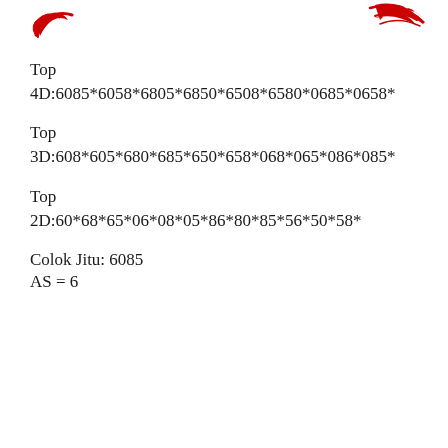[Figure (logo): Red decorative logo/icon on the left side of the header]
[Figure (logo): Red decorative logo/icon on the right side of the header]
Top
4D:6085*6058*6805*6850*6508*6580*0685*0658*
Top
3D:608*605*680*685*650*658*068*065*086*085*
Top
2D:60*68*65*06*08*05*86*80*85*56*50*58*
Colok Jitu: 6085
AS = 6